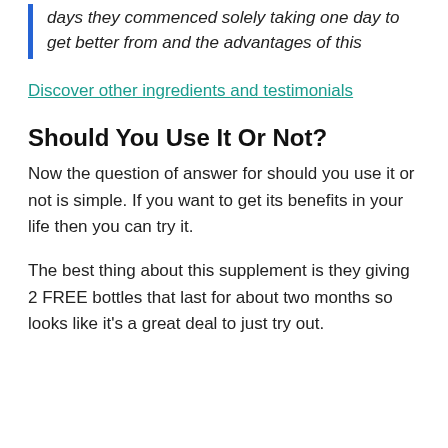days they commenced solely taking one day to get better from and the advantages of this
Discover other ingredients and testimonials
Should You Use It Or Not?
Now the question of answer for should you use it or not is simple. If you want to get its benefits in your life then you can try it.
The best thing about this supplement is they giving 2 FREE bottles that last for about two months so looks like it's a great deal to just try out.